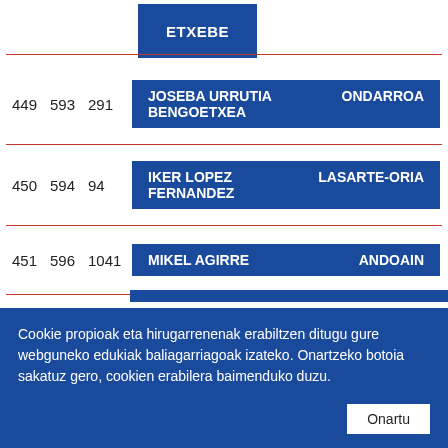ETXEBE (partial top entry)
| #1 | #2 | #3 | Name | Place |
| --- | --- | --- | --- | --- |
| 449 | 593 | 291 | JOSEBA URRUTIA BENGOETXEA | ONDARROA |
| 450 | 594 | 94 | IKER LOPEZ FERNANDEZ | LASARTE-ORIA |
| 451 | 596 | 1041 | MIKEL AGIRRE | ANDOAIN |
Cookie propioak eta hirugarrenenak erabiltzen ditugu gure webguneko edukiak baliagarriagoak izateko. Onartzeko botoia sakatuz gero, cookien erabilera baimenduko duzu. Onartu